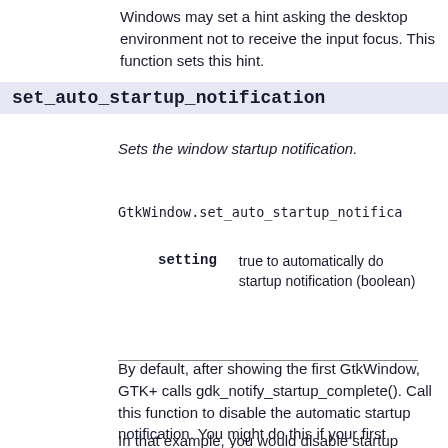Windows may set a hint asking the desktop environment not to receive the input focus. This function sets this hint.
set_auto_startup_notification
Sets the window startup notification.
GtkWindow.set_auto_startup_notifica
|  |  |
| --- | --- |
| setting | true to automatically do startup notification (boolean) |
By default, after showing the first GtkWindow, GTK+ calls gdk_notify_startup_complete(). Call this function to disable the automatic startup notification. You might do this if your first window is a splash screen, and you want to delay notification until after your real main window has been shown, for example.
In that example, you would disable startup